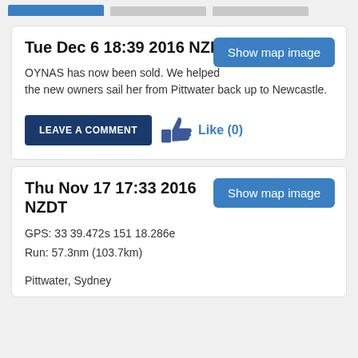Navigation tabs
Tue Dec 6 18:39 2016 NZDT
OYNAS has now been sold. We helped the new owners sail her from Pittwater back up to Newcastle.
LEAVE A COMMENT  Like (0)
Thu Nov 17 17:33 2016 NZDT
GPS: 33 39.472s 151 18.286e
Run: 57.3nm (103.7km)
Pittwater, Sydney